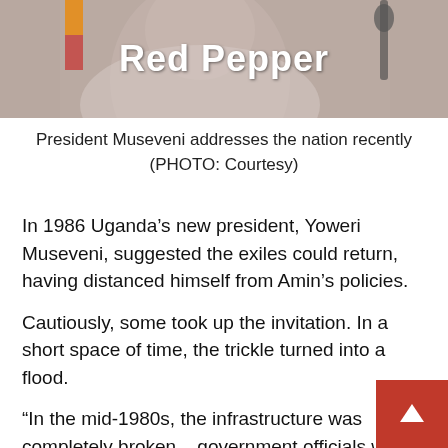[Figure (photo): Photo of President Museveni addressing the nation, with 'Red Pepper' text overlaid in white bold text]
President Museveni addresses the nation recently (PHOTO: Courtesy)
In 1986 Uganda’s new president, Yoweri Museveni, suggested the exiles could return, having distanced himself from Amin’s policies.
Cautiously, some took up the invitation. In a short space of time, the trickle turned into a flood.
“In the mid-1980s, the infrastructure was completely broken – government officials would turn up for work, hang a jacket on their chair, then disappear for the rest of the day,” he remembe
“The opportunities were there waiting to be seized.